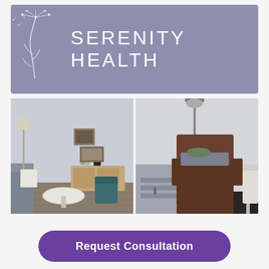[Figure (logo): Serenity Health logo: dandelion illustration on left, 'SERENITY HEALTH' text in large white letters on a muted purple-blue background banner]
[Figure (photo): Waiting room interior photo showing couch, lamp, round coffee table, wooden sideboard with Keurig, teal chair, wooden floors, neutral gray walls]
[Figure (photo): Medical treatment room with IV pole/stand, brown leather recliner chair with footrest, folded gray blankets and green pillow on chair, gray cabinet, white walls]
Request Consultation